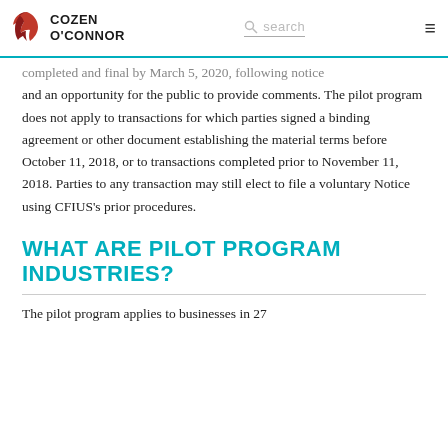Cozen O'Connor — search
completed and final by March 5, 2020, following notice and an opportunity for the public to provide comments. The pilot program does not apply to transactions for which parties signed a binding agreement or other document establishing the material terms before October 11, 2018, or to transactions completed prior to November 11, 2018. Parties to any transaction may still elect to file a voluntary Notice using CFIUS's prior procedures.
WHAT ARE PILOT PROGRAM INDUSTRIES?
The pilot program applies to businesses in 27